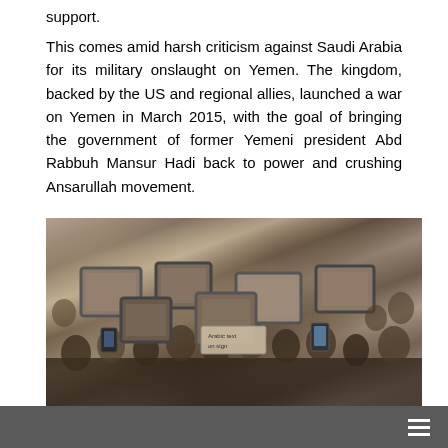support.
This comes amid harsh criticism against Saudi Arabia for its military onslaught on Yemen. The kingdom, backed by the US and regional allies, launched a war on Yemen in March 2015, with the goal of bringing the government of former Yemeni president Abd Rabbuh Mansur Hadi back to power and crushing Ansarullah movement.
[Figure (photo): A large crowd of people holding up framed photographs and signs at what appears to be a protest or demonstration rally.]